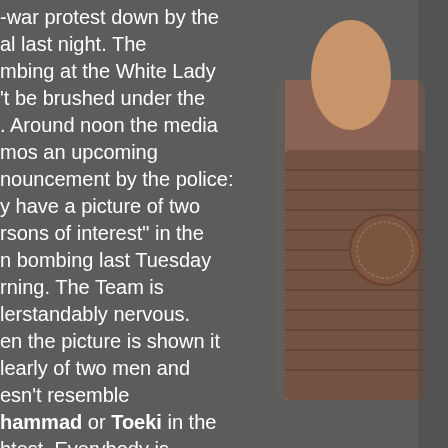-war protest down by the al last night. The mbing at the White Lady 't be brushed under the . Around noon the media mos an upcoming nouncement by the police: y have a picture of two rsons of interest" in the n bombing last Tuesday rning. The Team is lerstandably nervous. en the picture is shown it learly of two men and esn't resemble hammad or Toeki in the htest. Everybody is eved.
[Figure (photo): Partial image of a person on the right side of the page against a dark background]